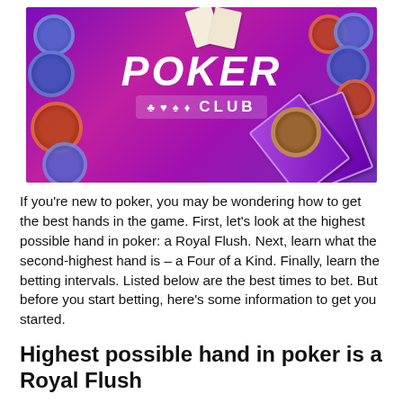[Figure (illustration): Poker Club game promotional image showing poker chips and playing cards on a purple/magenta background with 'POKER CLUB' text and suit symbols (club, heart, spade, diamond)]
If you're new to poker, you may be wondering how to get the best hands in the game. First, let's look at the highest possible hand in poker: a Royal Flush. Next, learn what the second-highest hand is – a Four of a Kind. Finally, learn the betting intervals. Listed below are the best times to bet. But before you start betting, here's some information to get you started.
Highest possible hand in poker is a Royal Flush